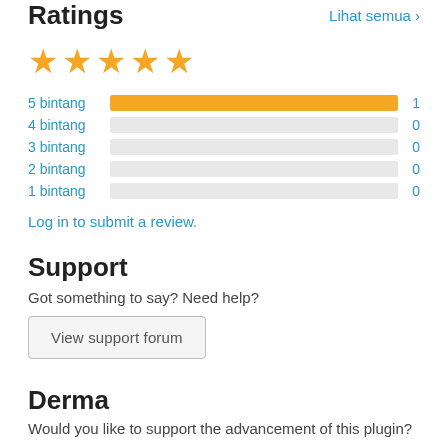Ratings
Lihat semua ›
[Figure (other): Five gold star icons representing a 5-star rating]
[Figure (bar-chart): Ratings breakdown]
Log in to submit a review.
Support
Got something to say? Need help?
View support forum
Derma
Would you like to support the advancement of this plugin?